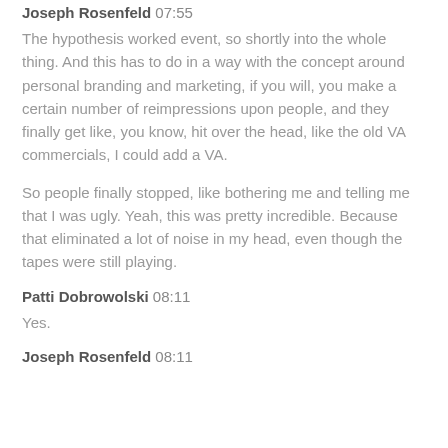Joseph Rosenfeld 07:55
The hypothesis worked event, so shortly into the whole thing. And this has to do in a way with the concept around personal branding and marketing, if you will, you make a certain number of reimpressions upon people, and they finally get like, you know, hit over the head, like the old VA commercials, I could add a VA.
So people finally stopped, like bothering me and telling me that I was ugly. Yeah, this was pretty incredible. Because that eliminated a lot of noise in my head, even though the tapes were still playing.
Patti Dobrowolski 08:11
Yes.
Joseph Rosenfeld 08:11